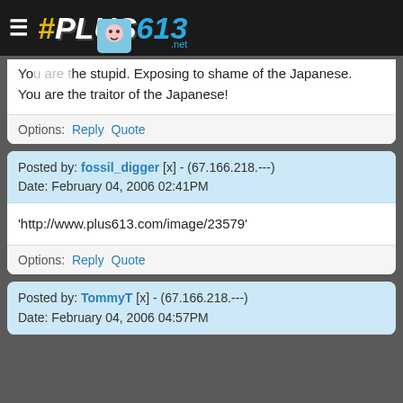# PLUS613 .net
Yo[u are] the stupid. Exposing to shame of the Japanese.
You are the traitor of the Japanese!
Options: Reply Quote
Posted by: fossil_digger [x] - (67.166.218.---)
Date: February 04, 2006 02:41PM
'http://www.plus613.com/image/23579'
Options: Reply Quote
Posted by: TommyT [x] - (67.166.218.---)
Date: February 04, 2006 04:57PM